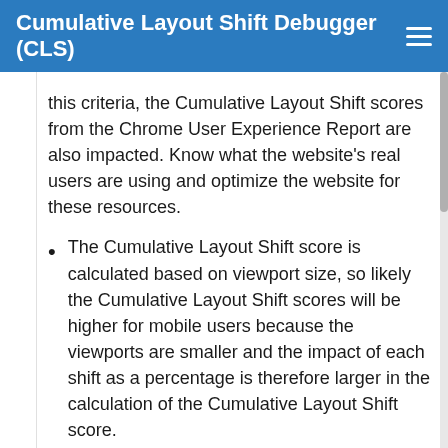Cumulative Layout Shift Debugger (CLS)
this criteria, the Cumulative Layout Shift scores from the Chrome User Experience Report are also impacted. Know what the website's real users are using and optimize the website for these resources.
The Cumulative Layout Shift score is calculated based on viewport size, so likely the Cumulative Layout Shift scores will be higher for mobile users because the viewports are smaller and the impact of each shift as a percentage is therefore larger in the calculation of the Cumulative Layout Shift score.
Large interstitials (e.g. for cookie acknowledgements) can prevent the